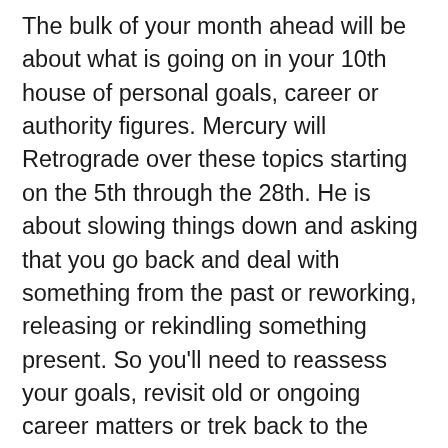The bulk of your month ahead will be about what is going on in your 10th house of personal goals, career or authority figures. Mercury will Retrograde over these topics starting on the 5th through the 28th. He is about slowing things down and asking that you go back and deal with something from the past or reworking, releasing or rekindling something present. So you'll need to reassess your goals, revisit old or ongoing career matters or trek back to the drawing board with a boss, parent, judge, teacher, director, or other higher-up. This is a do-over meant to help you get something right. There can be mix-ups, breakdowns, exits, or malfunctioning situations or electronics associated with these matters, all part of grabbing your attention and getting you to fix things. In the middle of this there is a New Moon regarding your goals, career and authority figures. This kicks in on the 6th and has power to move things forward over the next 2 weeks. You can start something new